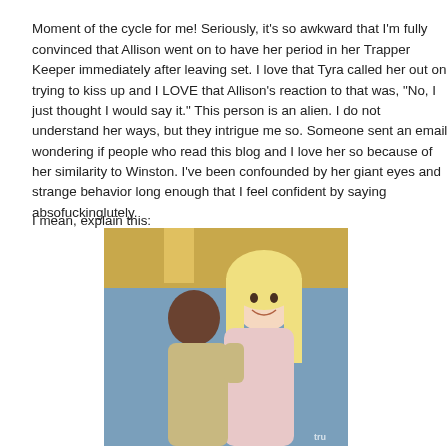Moment of the cycle for me! Seriously, it's so awkward that I'm fully convinced that Allison went on to have her period in her Trapper Keeper immediately after leaving set. I love that Tyra called her out on trying to kiss up and I LOVE that Allison's reaction to that was, "No, I just thought I would say it." This person is an alien. I do not understand her ways, but they intrigue me so. Someone sent an email wondering if people who read this blog and I love her so because of her similarity to Winston. I've been confounded by her giant eyes and strange behavior long enough that I feel confident by saying absofuckinglutely.
I mean, explain this:
[Figure (photo): Photo of a blonde woman smiling, being hugged from behind by a man with a shaved head, in what appears to be a TV show set with colorful background.]